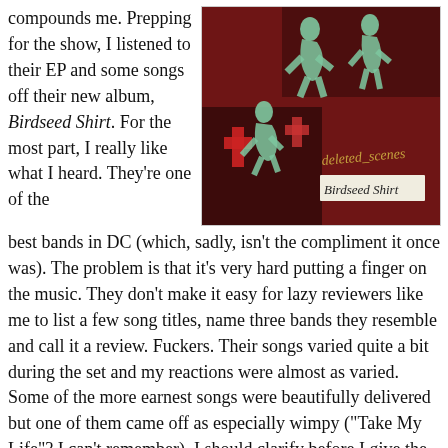compounds me. Prepping for the show, I listened to their EP and some songs off their new album, Birdseed Shirt. For the most part, I really like what I heard. They're one of the best bands in DC (which, sadly, isn't the compliment it once was). The problem is that it's very hard putting a finger on the music. They don't make it easy for lazy reviewers like me to list a few song titles, name three bands they resemble and call it a review. Fuckers. Their songs varied quite a bit during the set and my reactions were almost as varied. Some of the more earnest songs were beautifully delivered but one of them came off as especially wimpy ("Take My Life"? I can't remember). I should clarify before I give the impression their broad sound was a complete turn off. I respect a band that writes, sings, and plays what they please. These guys aren't going for a particular sound or a certain niche of indie rock. They're creative and musically adventurous (whereas I'm
[Figure (photo): Album cover of Deleted Scenes - Birdseed Shirt. Dark red/black background with green figure cutouts, handwritten text reading 'deleted_scenes' and 'Birdseed Shirt'.]